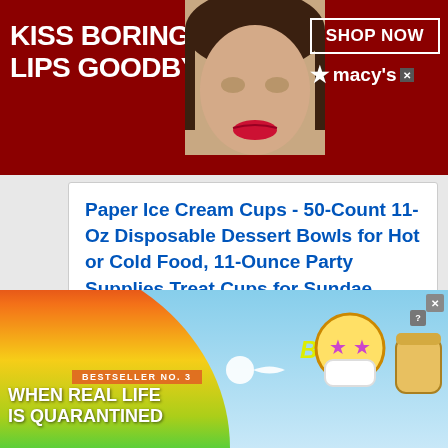[Figure (advertisement): Macy's ad banner: red background with woman's face, text 'KISS BORING LIPS GOODBYE', 'SHOP NOW', and Macy's star logo]
Paper Ice Cream Cups - 50-Count 11-Oz Disposable Dessert Bowls for Hot or Cold Food, 11-Ounce Party Supplies Treat Cups for Sundae, Frozen Yogurt, Soup, Brown
[Figure (logo): Amazon Prime badge with checkmark]
VIEW PRODUCT
BESTSELLER NO. 3
[Figure (advertisement): BitLife app ad: rainbow background with text 'WHEN REAL LIFE IS QUARANTINED' and BitLife logo with emoji character]